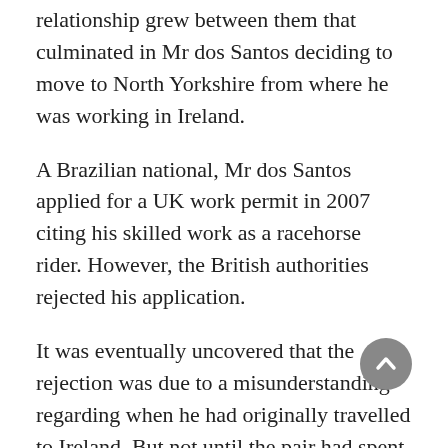relationship grew between them that culminated in Mr dos Santos deciding to move to North Yorkshire from where he was working in Ireland.
A Brazilian national, Mr dos Santos applied for a UK work permit in 2007 citing his skilled work as a racehorse rider. However, the British authorities rejected his application.
It was eventually uncovered that the rejection was due to a misunderstanding regarding when he had originally travelled to Ireland. But not until the pair had spent around £10,000 challenging the rejection.
Reports from the Northern Echo revealed that the UK work permit application was only accepted after they couple complained to the home secretary through their MP, William Hague. The complaint finally allowed Mr dos Santos to re-enter the